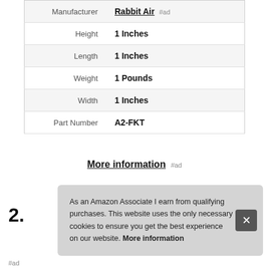| Attribute | Value |
| --- | --- |
| Manufacturer | Rabbit Air #ad |
| Height | 1 Inches |
| Length | 1 Inches |
| Weight | 1 Pounds |
| Width | 1 Inches |
| Part Number | A2-FKT |
More information #ad
2.
As an Amazon Associate I earn from qualifying purchases. This website uses the only necessary cookies to ensure you get the best experience on our website. More information
#ad